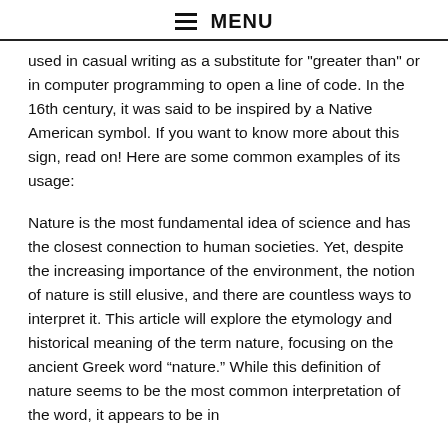MENU
used in casual writing as a substitute for "greater than" or in computer programming to open a line of code. In the 16th century, it was said to be inspired by a Native American symbol. If you want to know more about this sign, read on! Here are some common examples of its usage:
Nature is the most fundamental idea of science and has the closest connection to human societies. Yet, despite the increasing importance of the environment, the notion of nature is still elusive, and there are countless ways to interpret it. This article will explore the etymology and historical meaning of the term nature, focusing on the ancient Greek word “nature.” While this definition of nature seems to be the most common interpretation of the word, it appears to be in